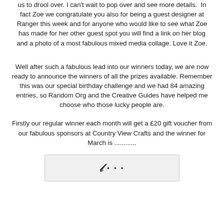us to drool over. I can't wait to pop over and see more details.  In fact Zoe we congratulate you also for being a guest designer at Ranger this week and for anyone who would like to see what Zoe has made for her other guest spot you will find a link on her blog and a photo of a most fabulous mixed media collage. Love it Zoe.
Well after such a fabulous lead into our winners today, we are now ready to announce the winners of all the prizes available. Remember this was our special birthday challenge and we had 84 amazing entries, so Random Org and the Creative Guides have helped me choose who those lucky people are.
Firstly our regular winner each month will get a £20 gift voucher from our fabulous sponsors at Country View Crafts and the winner for March is ............
[Figure (other): Partially visible image at the bottom of the page showing styled text, likely a name or title in decorative font]